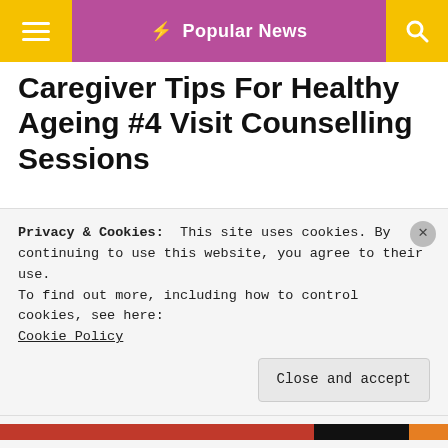≡  ⚡ Popular News  🔍
Caregiver Tips For Healthy Ageing #4 Visit Counselling Sessions
Ageing can be difficult, and it is essential to have someone to talk to about the challenges that come with it. Visiting a counsellor can help your loved ones manage their mental health and feel supported.  Many
Privacy & Cookies:  This site uses cookies. By continuing to use this website, you agree to their use.
To find out more, including how to control cookies, see here:
Cookie Policy
Close and accept